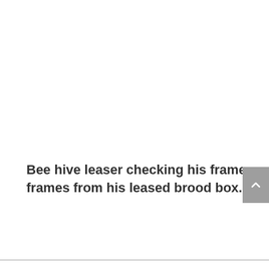Bee hive leaser checking his frames frames from his leased brood box.